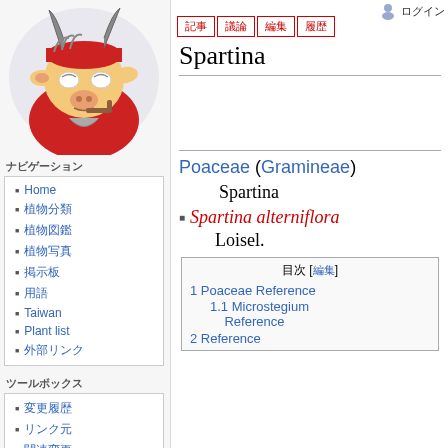[Figure (illustration): Cartoon goat mascot logo with horns, wearing a red bandana, smoking a pipe]
ナビゲーション
Home
植物分類
植物図鑑
植物写真
掲示板
用語
Taiwan
Plant list
外部リンク
ツールボックス
変更履歴
リンク元
関連変更
その他
Spartina
Poaceae (Gramineae)
Spartina
Spartina alterniflora Loisel.
| 目次 |
| --- |
| 1 Poaceae Reference |
| 1.1 Microstegium Reference |
| 2 Reference |